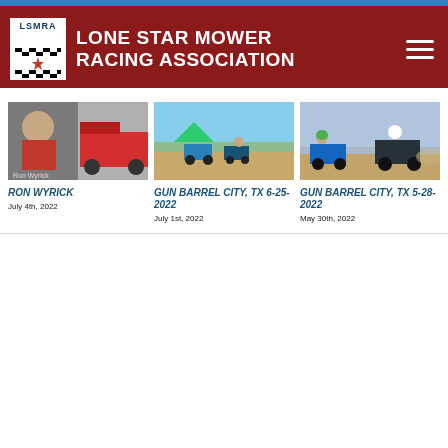Lone Star Mower Racing Association
[Figure (photo): Photo of Ron Wyrick with red racing mower at event]
RON WYRICK
July 4th, 2022
[Figure (photo): Racing mowers on dirt track at Gun Barrel City TX event 6-25-2022]
GUN BARREL CITY, TX 6-25-2022
July 1st, 2022
[Figure (photo): Racing mowers on dirt track at Gun Barrel City TX event 5-28-2022]
GUN BARREL CITY, TX 5-28-2022
May 30th, 2022